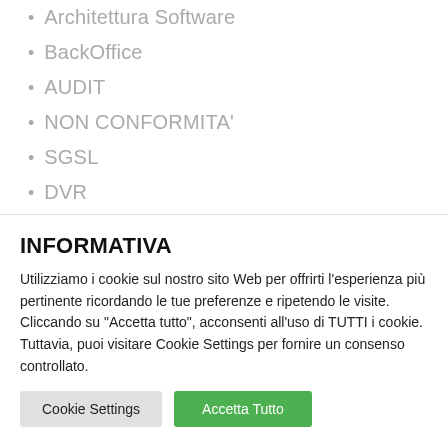Architettura Software
BackOffice
AUDIT
NON CONFORMITA'
SGSL
DVR
INFORMATIVA
Utilizziamo i cookie sul nostro sito Web per offrirti l'esperienza più pertinente ricordando le tue preferenze e ripetendo le visite. Cliccando su "Accetta tutto", acconsenti all'uso di TUTTI i cookie. Tuttavia, puoi visitare Cookie Settings per fornire un consenso controllato.
Cookie Settings | Accetta Tutto